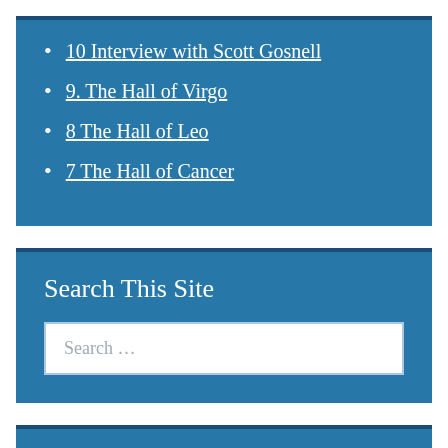10 Interview with Scott Gosnell
9. The Hall of Virgo
8 The Hall of Leo
7 The Hall of Cancer
Search This Site
Search ...
March 2015